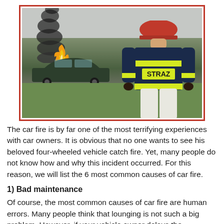[Figure (photo): A firefighter in a navy blue jacket with 'STRAZ' written on the back and yellow reflective stripes, wearing a red helmet, standing facing a burning car with black smoke rising, in a grassy field.]
The car fire is by far one of the most terrifying experiences with car owners. It is obvious that no one wants to see his beloved four-wheeled vehicle catch fire. Yet, many people do not know how and why this incident occurred. For this reason, we will list the 6 most common causes of car fire.
1) Bad maintenance
Of course, the most common causes of car fire are human errors. Many people think that lounging is not such a big problem. However, if your vehicle owner delays the maintenance schedule, you will unknowingly increase the